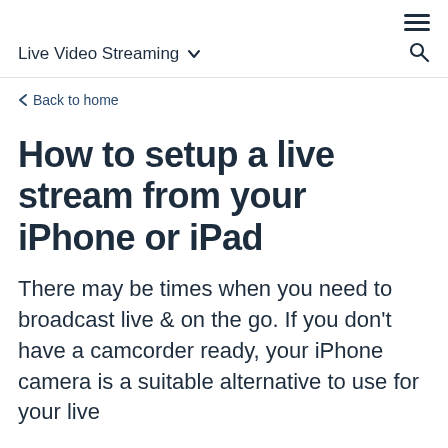≡
Live Video Streaming ∨
< Back to home
How to setup a live stream from your iPhone or iPad
There may be times when you need to broadcast live & on the go. If you don't have a camcorder ready, your iPhone camera is a suitable alternative to use for your live